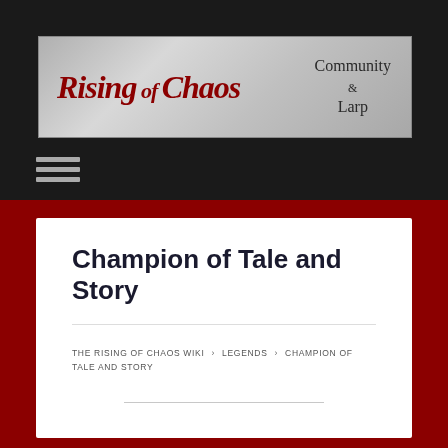[Figure (logo): Rising of Chaos Community & Larp banner logo on a metallic grey background]
Champion of Tale and Story
THE RISING OF CHAOS WIKI › LEGENDS › CHAMPION OF TALE AND STORY